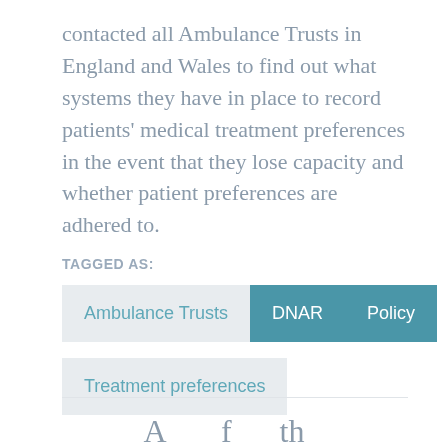contacted all Ambulance Trusts in England and Wales to find out what systems they have in place to record patients' medical treatment preferences in the event that they lose capacity and whether patient preferences are adhered to.
TAGGED AS:
Ambulance Trusts
DNAR
Policy
Treatment preferences